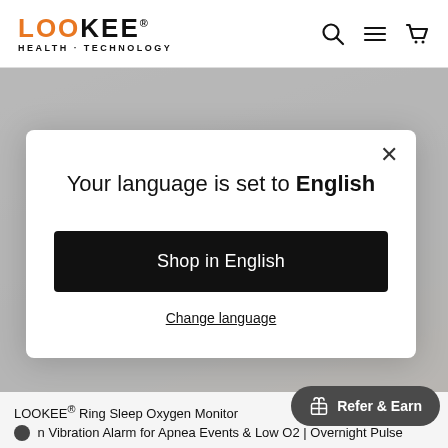LOOKEE HEALTH - TECHNOLOGY
[Figure (screenshot): LOOKEE website background showing health technology product images, dimmed by modal overlay]
[Figure (screenshot): Language selection modal dialog with close button, title reading 'Your language is set to English', a black 'Shop in English' button, and a 'Change language' underlined link]
Your language is set to English
Shop in English
Change language
LOOKEE® Ring Sleep Oxygen Monitor
n Vibration Alarm for Apnea Events & Low O2 | Overnight Pulse
Refer & Earn